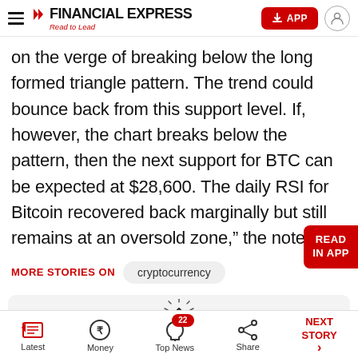FINANCIAL EXPRESS — Read to Lead
on the verge of breaking below the long formed triangle pattern. The trend could bounce back from this support level. If, however, the chart breaks below the pattern, then the next support for BTC can be expected at $28,600. The daily RSI for Bitcoin recovered back marginally but still remains at an oversold zone," the note said.
MORE STORIES ON  cryptocurrency
Latest | Money | Top News (22) | Share | NEXT STORY